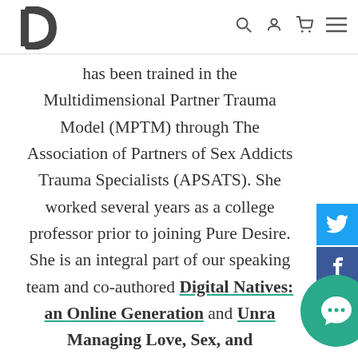[Logo: P] [search icon] [user icon] [cart icon] [menu icon]
has been trained in the Multidimensional Partner Trauma Model (MPTM) through The Association of Partners of Sex Addicts Trauma Specialists (APSATS). She worked several years as a college professor prior to joining Pure Desire. She is an integral part of our speaking team and co-authored Digital Natives: an Online Generation and Unra... Managing Love, Sex, and